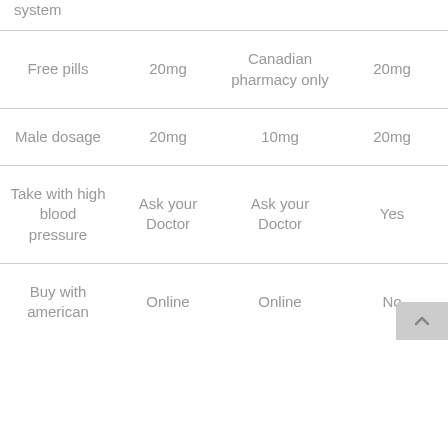| system |  |  |  |
| Free pills | 20mg | Canadian pharmacy only | 20mg |
| Male dosage | 20mg | 10mg | 20mg |
| Take with high blood pressure | Ask your Doctor | Ask your Doctor | Yes |
| Buy with american | Online | Online | No |